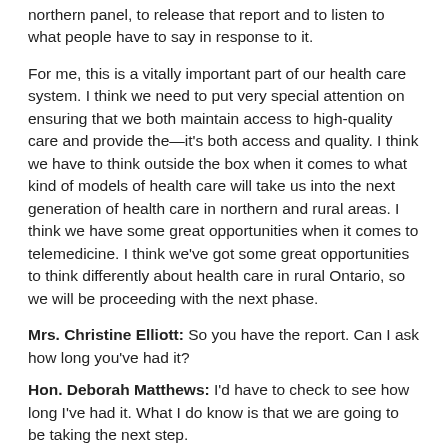northern panel, to release that report and to listen to what people have to say in response to it.
For me, this is a vitally important part of our health care system. I think we need to put very special attention on ensuring that we both maintain access to high-quality care and provide the—it's both access and quality. I think we have to think outside the box when it comes to what kind of models of health care will take us into the next generation of health care in northern and rural areas. I think we have some great opportunities when it comes to telemedicine. I think we've got some great opportunities to think differently about health care in rural Ontario, so we will be proceeding with the next phase.
Mrs. Christine Elliott: So you have the report. Can I ask how long you've had it?
Hon. Deborah Matthews: I'd have to check to see how long I've had it. What I do know is that we are going to be taking the next step.